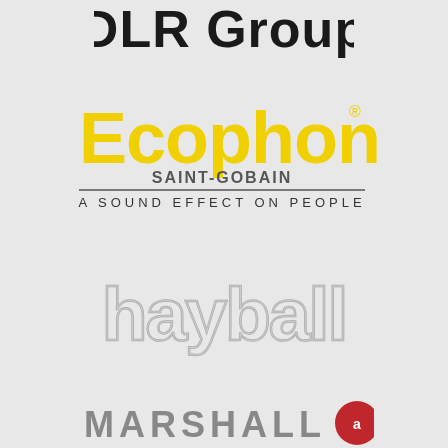[Figure (logo): DLR Group logo in dark text]
[Figure (logo): Ecophon Saint-Gobain logo with yellow text and tagline A SOUND EFFECT ON PEOPLE]
[Figure (logo): Hayball logo in outline/stroke style grey text]
[Figure (logo): Marshall Day logo partially visible at bottom]